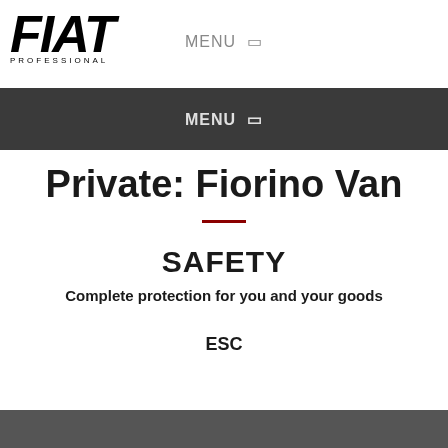[Figure (logo): FIAT PROFESSIONAL logo in bold italic black text with PROFESSIONAL in small caps below]
MENU ☰
MENU ☰
Private: Fiorino Van
SAFETY
Complete protection for you and your goods
ESC